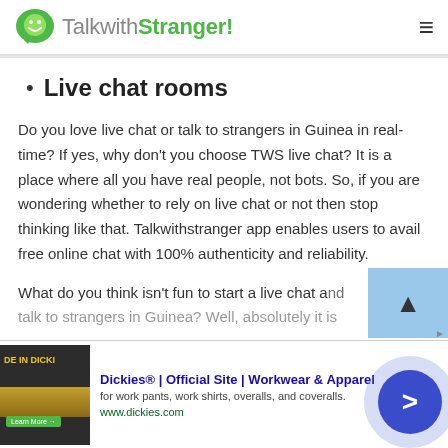TalkwithStranger!
Live chat rooms
Do you love live chat or talk to strangers in Guinea in real-time? If yes, why don't you choose TWS live chat? It is a place where all you have real people, not bots. So, if you are wondering whether to rely on live chat or not then stop thinking like that. Talkwithstranger app enables users to avail free online chat with 100% authenticity and reliability.
What do you think isn't fun to start a live chat and talk to strangers in Guinea? Well, absolutely it is
[Figure (screenshot): Dickies workwear advertisement banner at the bottom of the page with ad image, title, description and URL]